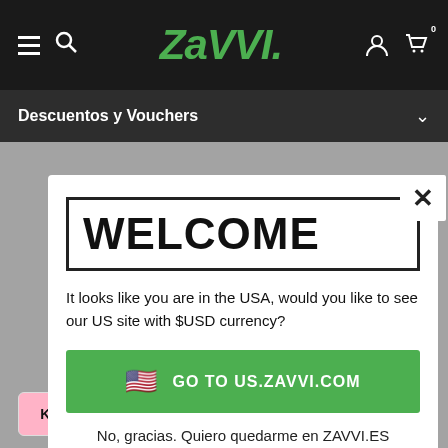[Figure (screenshot): Zavvi website navigation bar with hamburger menu, search icon, Zavvi green logo, user icon, and cart icon with 0 badge on dark background]
Descuentos y Vouchers
WELCOME
It looks like you are in the USA, would you like to see our US site with $USD currency?
🇺🇸 GO TO US.ZAVVI.COM
No, gracias. Quiero quedarme en ZAVVI.ES
[Figure (logo): Payment method logos: Klarna, Splitit, Sezzle]